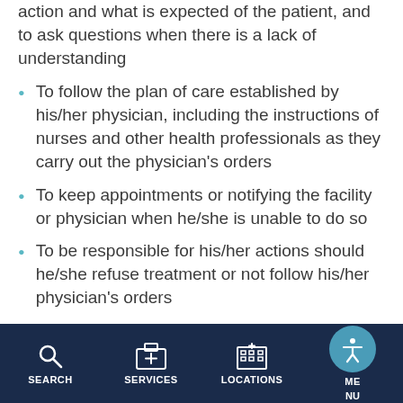action and what is expected of the patient, and to ask questions when there is a lack of understanding
To follow the plan of care established by his/her physician, including the instructions of nurses and other health professionals as they carry out the physician's orders
To keep appointments or notifying the facility or physician when he/she is unable to do so
To be responsible for his/her actions should he/she refuse treatment or not follow his/her physician's orders
To assure that the financial obligations of his/her healthcare care are fulfilled as promptly as possible
To follow facility policies, procedures, rules and
SEARCH  SERVICES  LOCATIONS  MENU